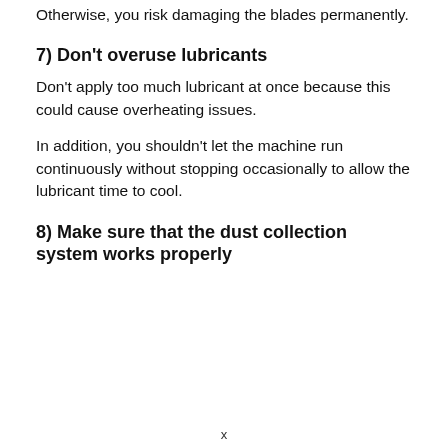Otherwise, you risk damaging the blades permanently.
7) Don't overuse lubricants
Don't apply too much lubricant at once because this could cause overheating issues.
In addition, you shouldn't let the machine run continuously without stopping occasionally to allow the lubricant time to cool.
8) Make sure that the dust collection system works properly
x